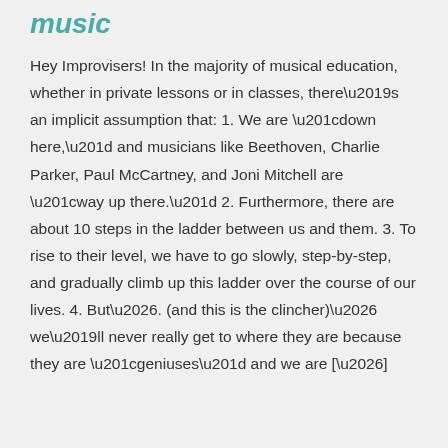music
Hey Improvisers! In the majority of musical education, whether in private lessons or in classes, there’s an implicit assumption that: 1. We are “down here,” and musicians like Beethoven, Charlie Parker, Paul McCartney, and Joni Mitchell are “way up there.” 2. Furthermore, there are about 10 steps in the ladder between us and them. 3. To rise to their level, we have to go slowly, step-by-step, and gradually climb up this ladder over the course of our lives. 4. But…. (and this is the clincher)… we’ll never really get to where they are because they are “geniuses” and we are […]